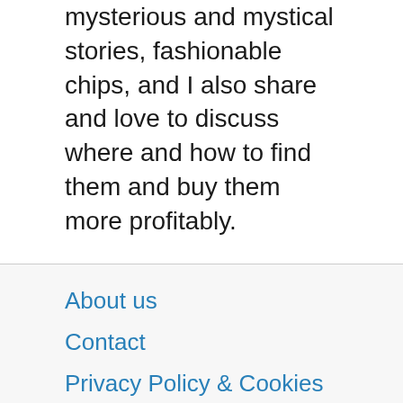mysterious and mystical stories, fashionable chips, and I also share and love to discuss where and how to find them and buy them more profitably.
About us
Contact
Privacy Policy & Cookies
ATTENTION TO RIGHT HOLDERS! All materials are posted on the site strictly for informational and educational purposes! If you believe that the posting of any material infringes your copyright, be sure to contact us through the contact form and...